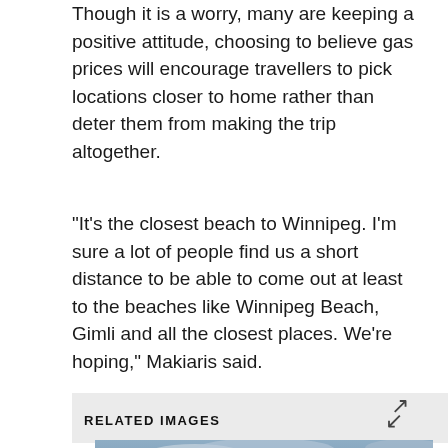Though it is a worry, many are keeping a positive attitude, choosing to believe gas prices will encourage travellers to pick locations closer to home rather than deter them from making the trip altogether.
"It's the closest beach to Winnipeg. I'm sure a lot of people find us a short distance to be able to come out at least to the beaches like Winnipeg Beach, Gimli and all the closest places. We're hoping," Makiaris said.
RELATED IMAGES
[Figure (photo): Photo of an Esso gas station sign showing price 187.9, taken at sunset with dramatic cloudy sky in the background]